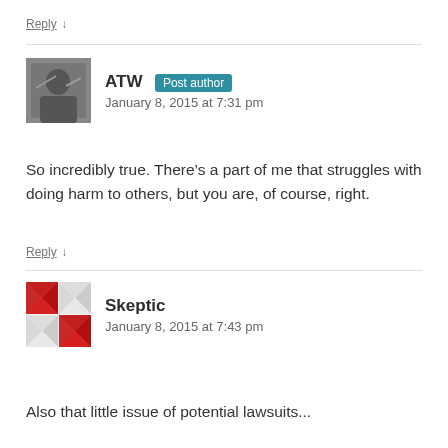Reply ↓
ATW Post author
January 8, 2015 at 7:31 pm
So incredibly true. There's a part of me that struggles with doing harm to others, but you are, of course, right.
Reply ↓
Skeptic
January 8, 2015 at 7:43 pm
Also that little issue of potential lawsuits...